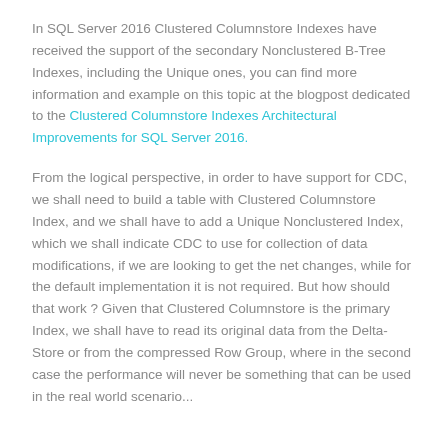In SQL Server 2016 Clustered Columnstore Indexes have received the support of the secondary Nonclustered B-Tree Indexes, including the Unique ones, you can find more information and example on this topic at the blogpost dedicated to the Clustered Columnstore Indexes Architectural Improvements for SQL Server 2016.
From the logical perspective, in order to have support for CDC, we shall need to build a table with Clustered Columnstore Index, and we shall have to add a Unique Nonclustered Index, which we shall indicate CDC to use for collection of data modifications, if we are looking to get the net changes, while for the default implementation it is not required. But how should that work ? Given that Clustered Columnstore is the primary Index, we shall have to read its original data from the Delta-Store or from the compressed Row Group, where in the second case the performance will never be something that can be used in the real world scenario...